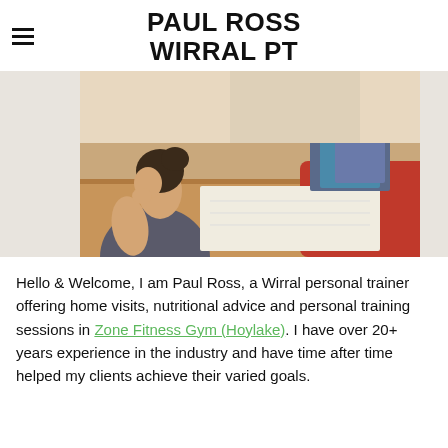PAUL ROSS WIRRAL PT
[Figure (photo): Two people sitting at a table; one person in a grey tank top with hand near face, and another in a red sweater writing on paper.]
Hello & Welcome, I am Paul Ross, a Wirral personal trainer offering home visits, nutritional advice and personal training sessions in Zone Fitness Gym (Hoylake). I have over 20+ years experience in the industry and have time after time helped my clients achieve their varied goals.